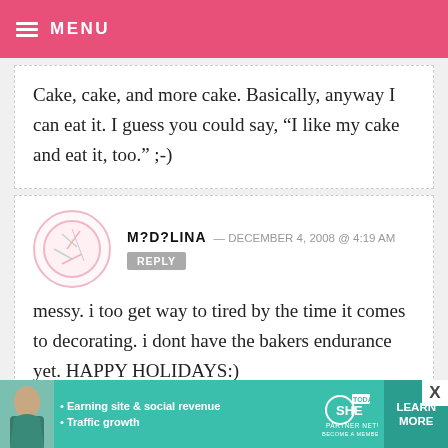MENU
Cake, cake, and more cake. Basically, anyway I can eat it. I guess you could say, “I like my cake and eat it, too.” ;-)
M?D?LINA — DECEMBER 4, 2008 @ 4:19 AM
messy. i too get way to tired by the time it comes to decorating. i dont have the bakers endurance yet. HAPPY HOLIDAYS:)
[Figure (infographic): SHE Partner Network advertisement banner with photo of woman, bullet points about earning site & social revenue and traffic growth, and a Learn More button]